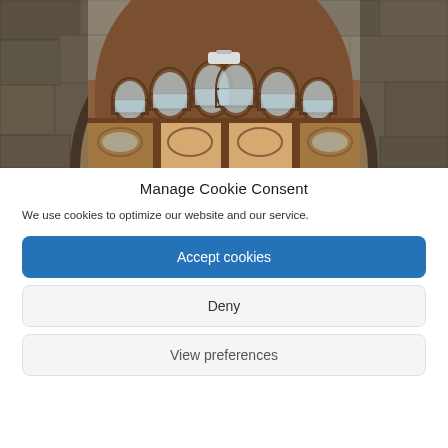[Figure (photo): Photograph of an ornate arched wooden door with Gothic-style arched glass panels set in a stone arch facade. The door has a large circular arch window above and decorative glass panes.]
Manage Cookie Consent
We use cookies to optimize our website and our service.
Accept cookies
Deny
View preferences